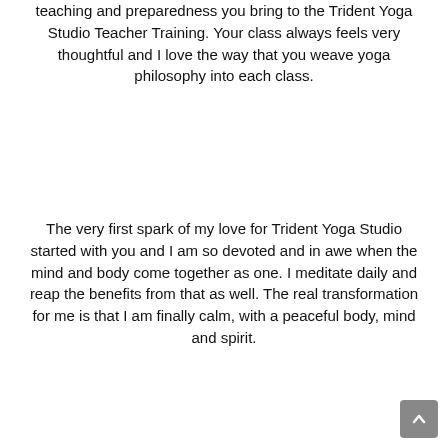teaching and preparedness you bring to the Trident Yoga Studio Teacher Training. Your class always feels very thoughtful and I love the way that you weave yoga philosophy into each class.
The very first spark of my love for Trident Yoga Studio started with you and I am so devoted and in awe when the mind and body come together as one. I meditate daily and reap the benefits from that as well. The real transformation for me is that I am finally calm, with a peaceful body, mind and spirit.